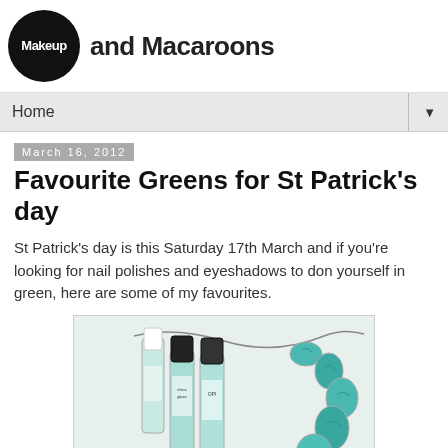Makeup and Macaroons
Home
March 16, 2012
Favourite Greens for St Patrick's day
St Patrick's day is this Saturday 17th March and if you're looking for nail polishes and eyeshadows to don yourself in green, here are some of my favourites.
[Figure (photo): Photo of mint/teal nail polish bottles (Essie, China Glaze, OPI) and a turquoise stone necklace on a white background]